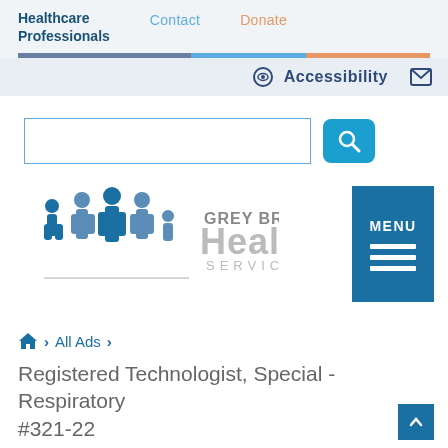Healthcare Professionals | Contact | Donate
Accessibility
[Figure (screenshot): Grey Bruce Health Services logo with silhouettes of family figures in blue]
MENU
Home > All Ads >
Registered Technologist, Special - Respiratory #321-22